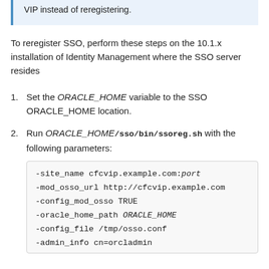VIP instead of reregistering.
To reregister SSO, perform these steps on the 10.1.x installation of Identity Management where the SSO server resides
1. Set the ORACLE_HOME variable to the SSO ORACLE_HOME location.
2. Run ORACLE_HOME/sso/bin/ssoreg.sh with the following parameters:
-site_name cfcvip.example.com:port
-mod_osso_url http://cfcvip.example.com
-config_mod_osso TRUE
-oracle_home_path ORACLE_HOME
-config_file /tmp/osso.conf
-admin_info cn=orcladmin